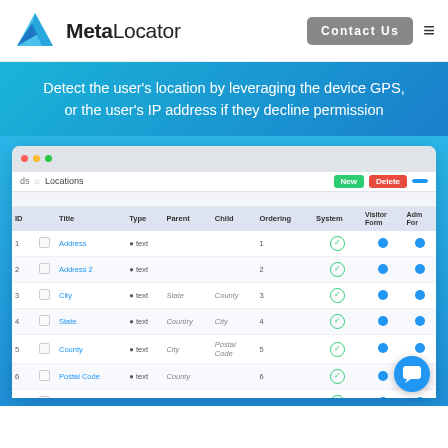[Figure (logo): MetaLocator logo with blue M icon and text]
Contact Us
Detect the user's location by leveraging the device GPS, or the user's IP address if they decline permission
[Figure (screenshot): Screenshot of MetaLocator admin interface showing a data table with columns: ID, checkbox, Title, Type, Parent, Child, Ordering, System, Visitor Form, Admin Form. Rows include Address, Address 2, City, State, County, Postal Code, Phone entries with •text type.]